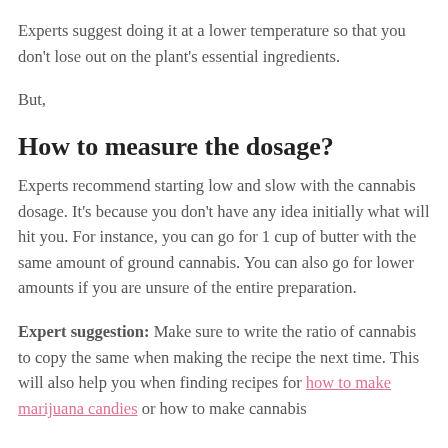Experts suggest doing it at a lower temperature so that you don't lose out on the plant's essential ingredients.
But,
How to measure the dosage?
Experts recommend starting low and slow with the cannabis dosage. It's because you don't have any idea initially what will hit you. For instance, you can go for 1 cup of butter with the same amount of ground cannabis. You can also go for lower amounts if you are unsure of the entire preparation.
Expert suggestion: Make sure to write the ratio of cannabis to copy the same when making the recipe the next time. This will also help you when finding recipes for how to make marijuana candies or how to make cannabis